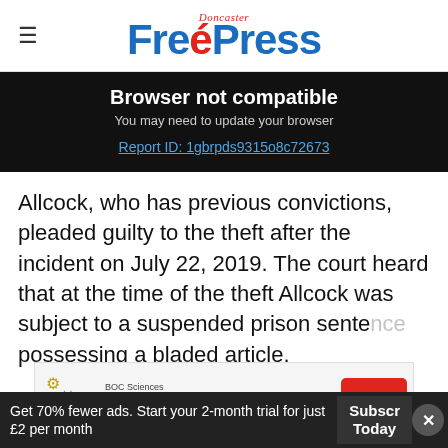Doncaster Free Press
Browser not compatible
You may need to update your browser
Report ID: 1gbrpds9315o8c72673
Allcock, who has previous convictions, pleaded guilty to the theft after the incident on July 22, 2019. The court heard that at the time of the theft Allcock was subject to a suspended prison sente... possessing a bladed article.
[Figure (screenshot): Ad for BOC Sciences cGMP Manufacturing with Open button]
Get 70% fewer ads. Start your 2-month trial for just £2 per month
Subscribe Today